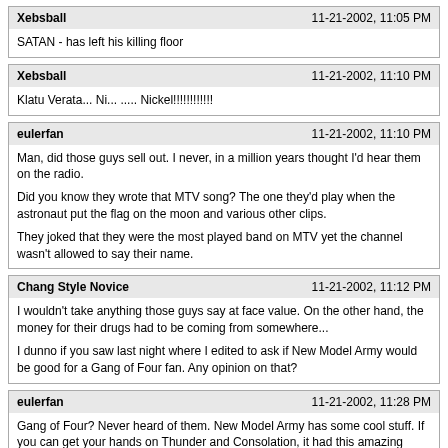Xebsball | 11-21-2002, 11:05 PM
SATAN - has left his killing floor
Xebsball | 11-21-2002, 11:10 PM
Klatu Verata... Ni... ..... Nickel!!!!!!!!!!!
eulerfan | 11-21-2002, 11:10 PM
Man, did those guys sell out. I never, in a million years thought I'd hear them on the radio.

Did you know they wrote that MTV song? The one they'd play when the astronaut put the flag on the moon and various other clips.

They joked that they were the most played band on MTV yet the channel wasn't allowed to say their name.
Chang Style Novice | 11-21-2002, 11:12 PM
I wouldn't take anything those guys say at face value. On the other hand, the money for their drugs had to be coming from somewhere...

I dunno if you saw last night where I edited to ask if New Model Army would be good for a Gang of Four fan. Any opinion on that?
eulerfan | 11-21-2002, 11:28 PM
Gang of Four? Never heard of them. New Model Army has some cool stuff. If you can get your hands on Thunder and Consolation, it had this amazing song called "Vagabonds" with an electric violin.